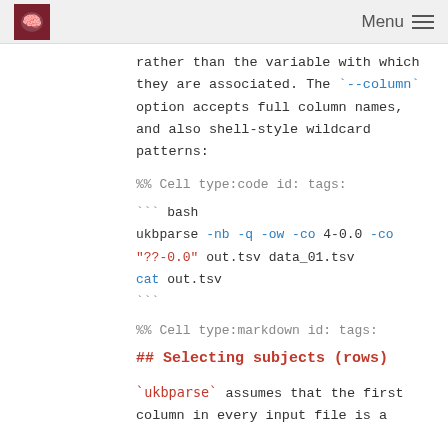Menu
rather than the variable with which they are associated. The `--column` option accepts full column names, and also shell-style wildcard patterns:
%% Cell type:code id: tags:
``` bash
ukbparse -nb -q -ow -co 4-0.0 -co "??-0.0" out.tsv data_01.tsv
cat out.tsv
```
%% Cell type:markdown id: tags:
## Selecting subjects (rows)
`ukbparse` assumes that the first column in every input file is a